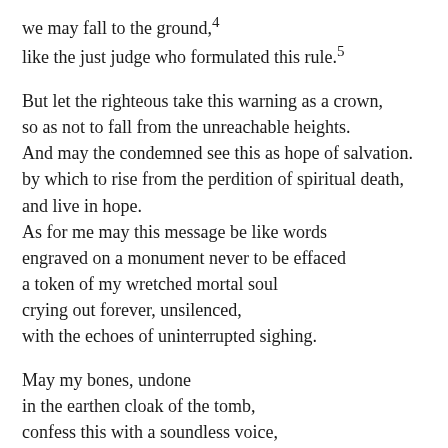we may fall to the ground,⁴
like the just judge who formulated this rule.⁵
But let the righteous take this warning as a crown,
so as not to fall from the unreachable heights.
And may the condemned see this as hope of salvation.
by which to rise from the perdition of spiritual death,
and live in hope.
As for me may this message be like words
engraved on a monument never to be effaced
a token of my wretched mortal soul
crying out forever, unsilenced,
with the echoes of uninterrupted sighing.
May my bones, undone
in the earthen cloak of the tomb,
confess this with a soundless voice,
and my body turned to dust
deliver these prayers to you
with an indiscernible cry, seer of secrets.
B
Lord of compassion, fount of mercies,
bounty of goodness,